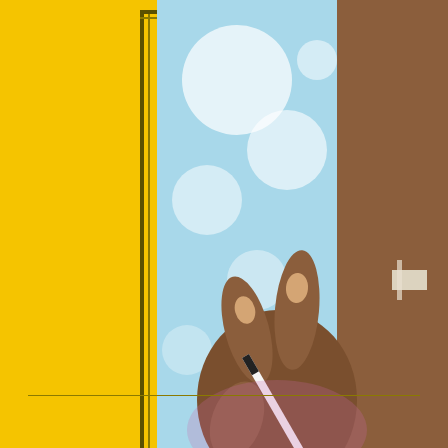[Figure (photo): Close-up photo of a dark-skinned hand holding a pencil/pen, with a light blue bokeh background. Another person's torso is partially visible on the right side.]
Golden
Copyright © 2o2